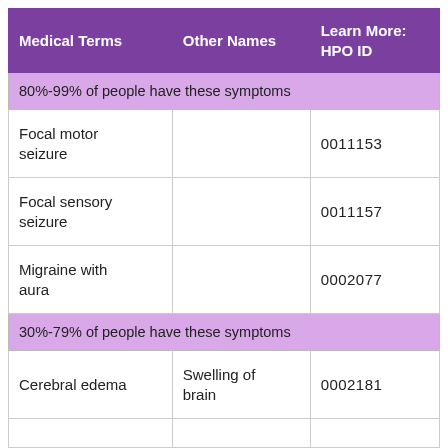| Medical Terms | Other Names | Learn More: HPO ID |
| --- | --- | --- |
| 80%-99% of people have these symptoms |  |  |
| Focal motor seizure |  | 0011153 |
| Focal sensory seizure |  | 0011157 |
| Migraine with aura |  | 0002077 |
| 30%-79% of people have these symptoms |  |  |
| Cerebral edema | Swelling of brain | 0002181 |